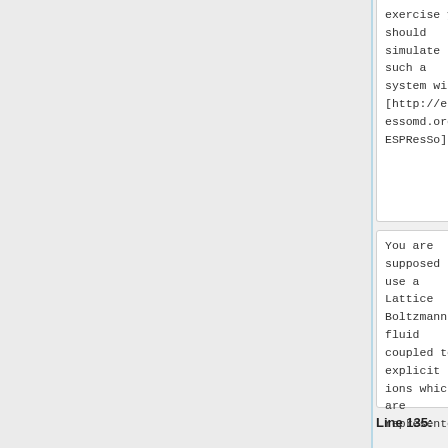exercise you should simulate such a system with [http://espressomd.org ESPResSo].
exercise you should simulate such a system with [http://espressomd.org ESPResSo].
You are supposed to use a Lattice Boltzmann fluid coupled to explicit ions which are represented
You are supposed to use a Lattice Boltzmann fluid coupled to explicit ions which are represented
Line 135:
Line 146: